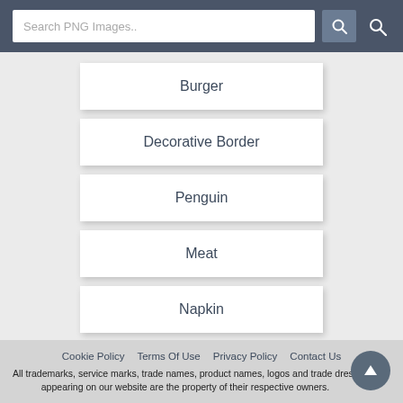Search PNG Images..
Burger
Decorative Border
Penguin
Meat
Napkin
Cookie Policy   Terms Of Use   Privacy Policy   Contact Us
All trademarks, service marks, trade names, product names, logos and trade dress appearing on our website are the property of their respective owners.